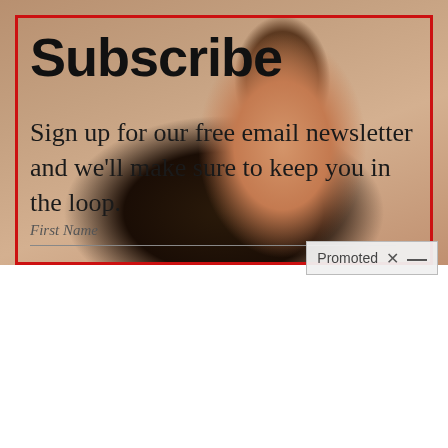[Figure (photo): A young woman with long dark hair using a facial tool (appears to be a whitening strip or nose tool) near her nose, used as background image behind a newsletter subscribe overlay]
Subscribe
Sign up for our free email newsletter and we'll make sure to keep you in the loop.
First Name
Promoted